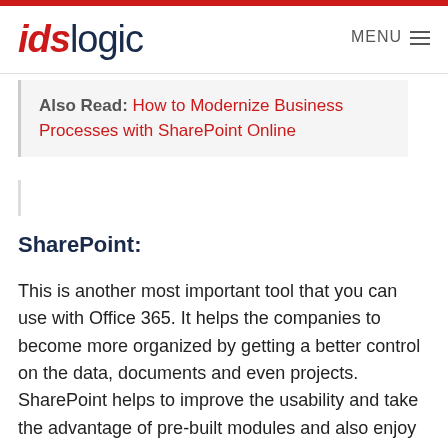idslogic   MENU
Also Read: How to Modernize Business Processes with SharePoint Online
SharePoint:
This is another most important tool that you can use with Office 365. It helps the companies to become more organized by getting a better control on the data, documents and even projects. SharePoint helps to improve the usability and take the advantage of pre-built modules and also enjoy an easy to use interface. It has become an increasingly important tool to boost